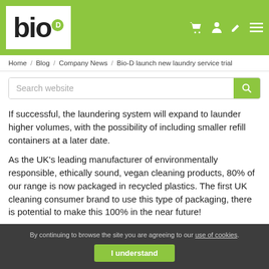bio D [logo with navigation icons]
Home / Blog / Company News / Bio-D launch new laundry service trial
Search website
If successful, the laundering system will expand to launder higher volumes, with the possibility of including smaller refill containers at a later date.
As the UK’s leading manufacturer of environmentally responsible, ethically sound, vegan cleaning products, 80% of our range is now packaged in recycled plastics. The first UK cleaning consumer brand to use this type of packaging, there is potential to make this 100% in the near future!
Read our Sustainability Report to find out what other ways we’re helping to create a more sustainable planet.
By continuing to browse the site you are agreeing to our use of cookies. I understand